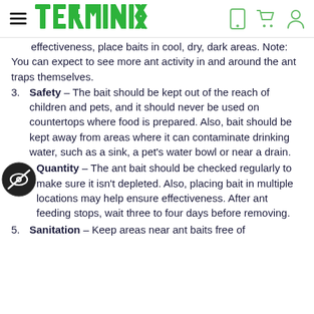Terminix navigation header
effectiveness, place baits in cool, dry, dark areas. Note: You can expect to see more ant activity in and around the ant traps themselves.
Safety – The bait should be kept out of the reach of children and pets, and it should never be used on countertops where food is prepared. Also, bait should be kept away from areas where it can contaminate drinking water, such as a sink, a pet's water bowl or near a drain.
Quantity – The ant bait should be checked regularly to make sure it isn't depleted. Also, placing bait in multiple locations may help ensure effectiveness. After ant feeding stops, wait three to four days before removing.
Sanitation – Keep areas near ant baits free of